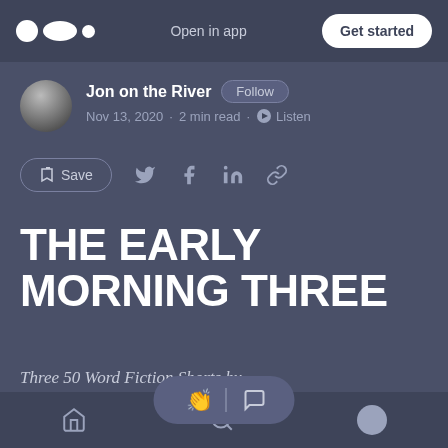Open in app | Get started
Jon on the River · Follow
Nov 13, 2020 · 2 min read · Listen
Save
THE EARLY MORNING THREE
Three 50 Word Fiction Shorts by
JON ON THE RIVER
Home · Search · Profile